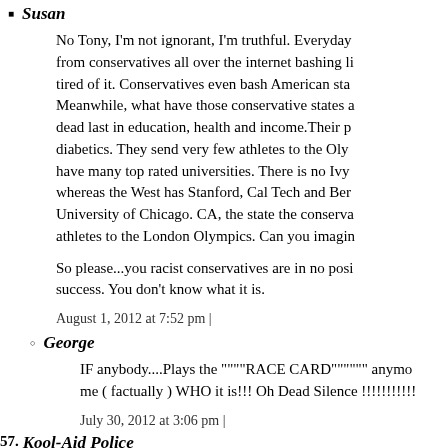Susan
No Tony, I'm not ignorant, I'm truthful. Everyday from conservatives all over the internet bashing li tired of it. Conservatives even bash American sta Meanwhile, what have those conservative states a dead last in education, health and income.Their p diabetics. They send very few athletes to the Oly have many top rated universities. There is no Ivy whereas the West has Stanford, Cal Tech and Ber University of Chicago. CA, the state the conserva athletes to the London Olympics. Can you imagin
So please...you racist conservatives are in no posi success. You don't know what it is.
August 1, 2012 at 7:52 pm |
George
IF anybody....Plays the """"RACE CARD"""""" anymo me ( factually ) WHO it is!!! Oh Dead Silence !!!!!!!!!!!
July 30, 2012 at 3:06 pm |
57. Kool-Aid Police
This article uses "may", "cobbled together" and "circumstanti